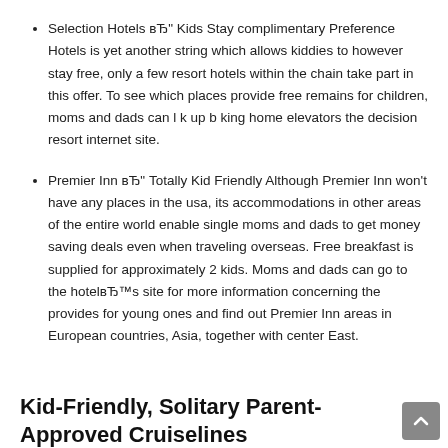Selection Hotels вЂ" Kids Stay complimentary Preference Hotels is yet another string which allows kiddies to however stay free, only a few resort hotels within the chain take part in this offer. To see which places provide free remains for children, moms and dads can l k up b king home elevators the decision resort internet site.
Premier Inn вЂ" Totally Kid Friendly Although Premier Inn won't have any places in the usa, its accommodations in other areas of the entire world enable single moms and dads to get money saving deals even when traveling overseas. Free breakfast is supplied for approximately 2 kids. Moms and dads can go to the hotelвЂ™s site for more information concerning the provides for young ones and find out Premier Inn areas in European countries, Asia, together with center East.
Kid-Friendly, Solitary Parent-Approved Cruiselines